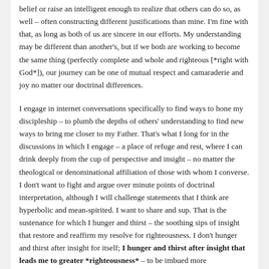belief or raise an intelligent enough to realize that others can do so, as well – often constructing different justifications than mine. I'm fine with that, as long as both of us are sincere in our efforts. My understanding may be different than another's, but if we both are working to become the same thing (perfectly complete and whole and righteous [*right with God*]), our journey can be one of mutual respect and camaraderie and joy no matter our doctrinal differences.
I engage in internet conversations specifically to find ways to hone my discipleship – to plumb the depths of others' understanding to find new ways to bring me closer to my Father. That's what I long for in the discussions in which I engage – a place of refuge and rest, where I can drink deeply from the cup of perspective and insight – no matter the theological or denominational affiliation of those with whom I converse. I don't want to fight and argue over minute points of doctrinal interpretation, although I will challenge statements that I think are hyperbolic and mean-spirited. I want to share and sup. That is the sustenance for which I hunger and thirst – the soothing sips of insight that restore and reaffirm my resolve for righteousness. I don't hunger and thirst after insight for itself; I hunger and thirst after insight that leads me to greater *righteousness* – to be imbued more